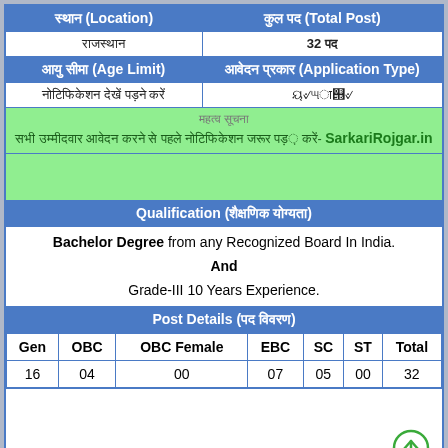| स्थान (Location) | कुल पद (Total Post) |
| --- | --- |
| राजस्थान | 32 पद |
| आयु सीमा (Age Limit) | आवेदन प्रकार (Application Type) |
| नोटिफिकेशन देखें | ऑनलाइन |
महत्व सूचना
सभी उम्मीदवार आवेदन करने से पहले नोटिफिकेशन जरूर पढ़ें- SarkariRojgar.in
Qualification (शैक्षणिक योग्यता)
Bachelor Degree from any Recognized Board In India. And Grade-III 10 Years Experience.
Post Details (पद विवरण)
| Gen | OBC | OBC Female | EBC | SC | ST | Total |
| --- | --- | --- | --- | --- | --- | --- |
| 16 | 04 | 00 | 07 | 05 | 00 | 32 |
Get Android App